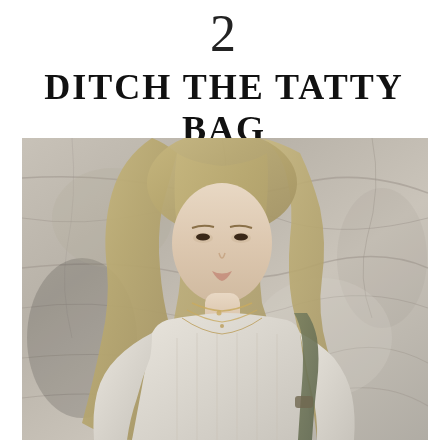2
DITCH THE TATTY BAG
[Figure (photo): Young blonde woman with long wavy hair wearing a cream/white knit open-weave sweater and layered gold necklaces, carrying an olive green bag strap over her shoulder, standing against a textured stone/rock wall background. Fashion editorial style photograph in muted, neutral tones.]